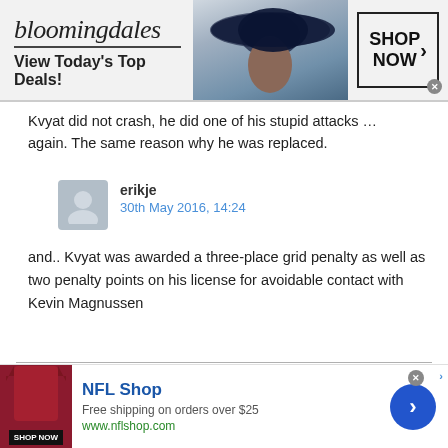[Figure (screenshot): Bloomingdales advertisement banner: logo with 'bloomingdales', tagline 'View Today's Top Deals!', woman with wide-brim hat, 'SHOP NOW >' button]
Kvyat did not crash, he did one of his stupid attacks … again. The same reason why he was replaced.
erikje
30th May 2016, 14:24
and.. Kvyat was awarded a three-place grid penalty as well as two penalty points on his license for avoidable contact with Kevin Magnussen
[Figure (screenshot): NFL Shop advertisement: red jersey image, 'NFL Shop' title, 'Free shipping on orders over $25', 'www.nflshop.com', blue circle arrow button, SHOP NOW button]